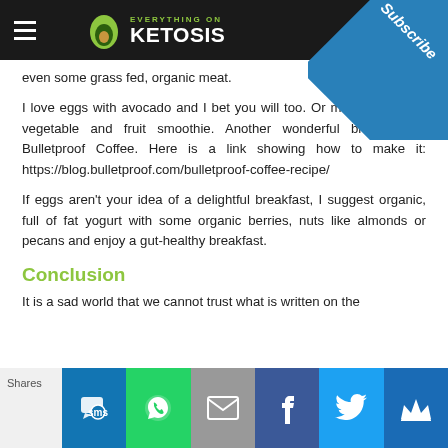Everything On Ketosis
even some grass fed, organic meat.
I love eggs with avocado and I bet you will too. Or make yourself a vegetable and fruit smoothie. Another wonderful breakfast is Bulletproof Coffee. Here is a link showing how to make it: https://blog.bulletproof.com/bulletproof-coffee-recipe/
If eggs aren't your idea of a delightful breakfast, I suggest organic, full of fat yogurt with some organic berries, nuts like almonds or pecans and enjoy a gut-healthy breakfast.
Conclusion
It is a sad world that we cannot trust what is written on the
Shares